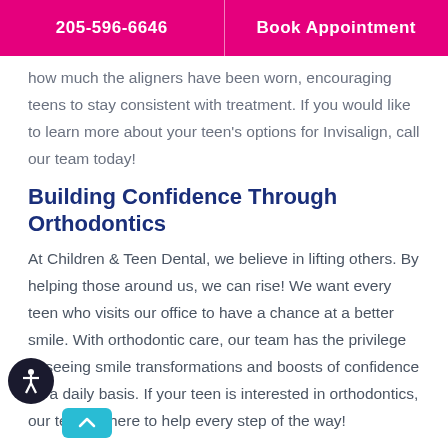205-596-6646   Book Appointment
how much the aligners have been worn, encouraging teens to stay consistent with treatment. If you would like to learn more about your teen's options for Invisalign, call our team today!
Building Confidence Through Orthodontics
At Children & Teen Dental, we believe in lifting others. By helping those around us, we can rise! We want every teen who visits our office to have a chance at a better smile. With orthodontic care, our team has the privilege of seeing smile transformations and boosts of confidence on a daily basis. If your teen is interested in orthodontics, our team is here to help every step of the way!